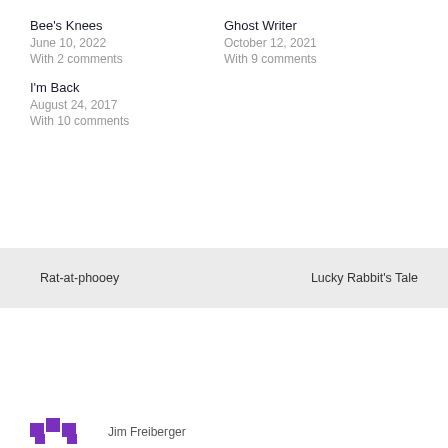Bee's Knees
June 10, 2022
With 2 comments
Ghost Writer
October 12, 2021
With 9 comments
I'm Back
August 24, 2017
With 10 comments
Rat-at-phooey
Lucky Rabbit's Tale
10 thoughts on “The Glider”
Jim Freiberɡer